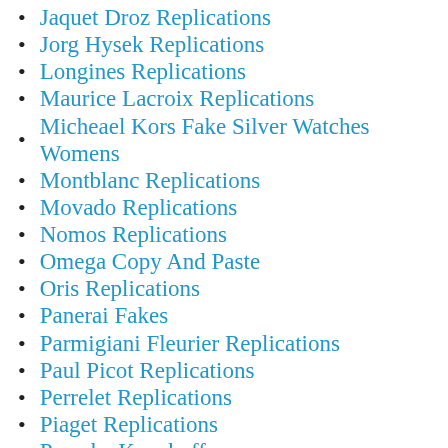Jaquet Droz Replications
Jorg Hysek Replications
Longines Replications
Maurice Lacroix Replications
Micheael Kors Fake Silver Watches Womens
Montblanc Replications
Movado Replications
Nomos Replications
Omega Copy And Paste
Oris Replications
Panerai Fakes
Parmigiani Fleurier Replications
Paul Picot Replications
Perrelet Replications
Piaget Replications
Porsche Knockoffs
Rado Replications